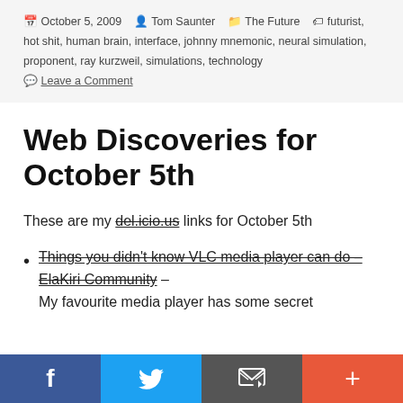October 5, 2009  Tom Saunter  The Future  futurist, hot shit, human brain, interface, johnny mnemonic, neural simulation, proponent, ray kurzweil, simulations, technology  Leave a Comment
Web Discoveries for October 5th
These are my del.icio.us links for October 5th
Things you didn't know VLC media player can do – ElaKiri Community – My favourite media player has some secret